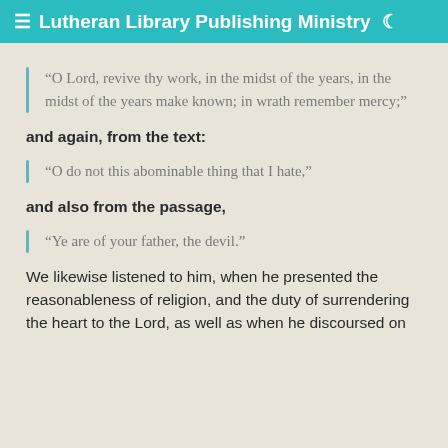≡ Lutheran Library Publishing Ministry 🌙
“O Lord, revive thy work, in the midst of the years, in the midst of the years make known; in wrath remember mercy;”
and again, from the text:
“O do not this abominable thing that I hate,”
and also from the passage,
“Ye are of your father, the devil.”
We likewise listened to him, when he presented the reasonableness of religion, and the duty of surrendering the heart to the Lord, as well as when he discoursed on